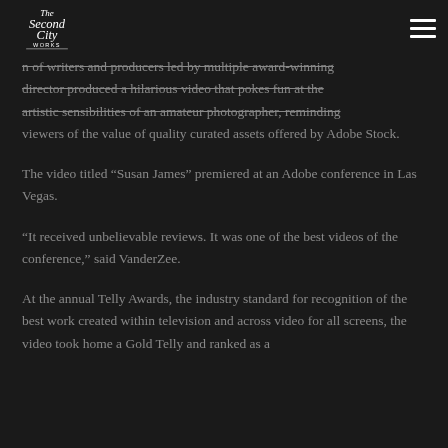The Second City Works [logo] [hamburger menu]
n of writers and producers led by multiple award-winning director produced a hilarious video that pokes fun at the artistic sensibilities of an amateur photographer, reminding viewers of the value of quality curated assets offered by Adobe Stock.
The video titled “Susan James” premiered at an Adobe conference in Las Vegas.
“It received unbelievable reviews. It was one of the best videos of the conference,” said VanderZee.
At the annual Telly Awards, the industry standard for recognition of the best work created within television and across video for all screens, the video took home a Gold Telly and ranked as a